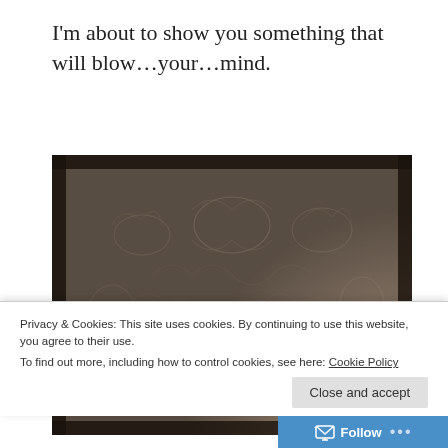I'm about to show you something that will blow…your…mind.
[Figure (photo): A sepia-toned textured image resembling embossed floral wallpaper or fabric with the text 'DIY FAUX TEXTURED GLASS' overlaid in a worn stencil-style white font.]
Privacy & Cookies: This site uses cookies. By continuing to use this website, you agree to their use.
To find out more, including how to control cookies, see here: Cookie Policy
Close and accept